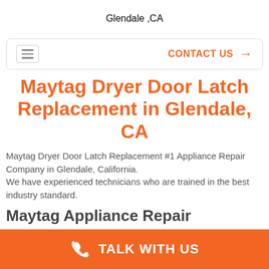Glendale ,CA
CONTACT US →
Maytag Dryer Door Latch Replacement in Glendale, CA
Maytag Dryer Door Latch Replacement #1 Appliance Repair Company in Glendale, California.
We have experienced technicians who are trained in the best industry standard.
Maytag Appliance Repair
TALK WITH US